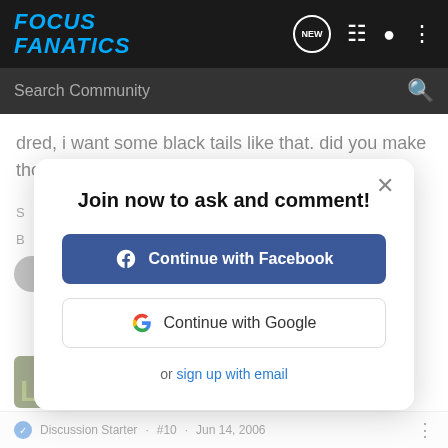Focus Fanatics
Search Community
dred, i want some black tails like that. did you make those or are they european order?
Join now to ask and comment!
Continue with Facebook
Continue with Google
or sign up with email
Joined Oct 1, 2000 · 1337 Posts
Discussion Starter · #10 · Jun 14, 2006